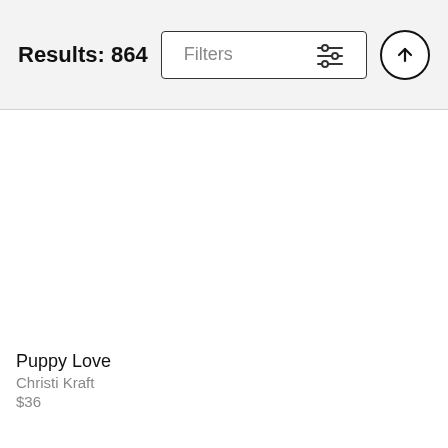Results: 864
Filters
Puppy Love
Christi Kraft
$36